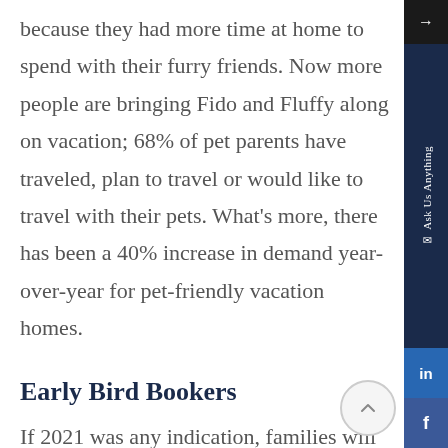because they had more time at home to spend with their furry friends. Now more people are bringing Fido and Fluffy along on vacation; 68% of pet parents have traveled, plan to travel or would like to travel with their pets. What's more, there has been a 40% increase in demand year-over-year for pet-friendly vacation homes.
Early Bird Bookers
If 2021 was any indication, families will continue booking their vacations further